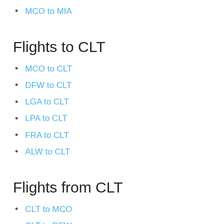MCO to MIA
Flights to CLT
MCO to CLT
DFW to CLT
LGA to CLT
LPA to CLT
FRA to CLT
ALW to CLT
Flights from CLT
CLT to MCO
CLT to DFW
CLT to LGA
CLT to TNR
CLT to DBQ